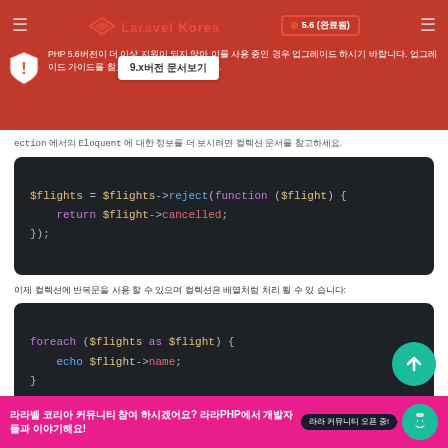[Figure (screenshot): Laravel Korea website header navigation bar with red background, logo, version badge showing 5.6]
PHP 5.6버전이 더 이상 지원이 되지 않아 이를 사용 중인 경우 업그레이드 하시기 바랍니다. 업그레이드 가이드를 참고하여 업그레이드 하세요.
9.x버전 문서보기
Collection 에서의 Eloquent 에 대한 정보를 더 보시려면 컬렉션 문서를 참고하세요.
[Figure (screenshot): Code block showing: $flights = $flights->reject(function ($flight) { return $flight->cancelled; });]
이제 컬렉션에 반복문을 사용 할 수 있으며 컬렉션은 배열처럼 처리 될 수 있 습니다:
[Figure (screenshot): Code block showing: foreach ($flights as $flight) { echo $flight->name; }]
결과 청크처리하기
수천개의 Eloquent 레코드를 처리 할 때 chunk 명령어를 사용하면 메모리를 절약할 수 있습니다. chunk 메소드는 "청크" Eloquent
[Figure (screenshot): Bottom footer with Discord community promotion in pink/magenta background]